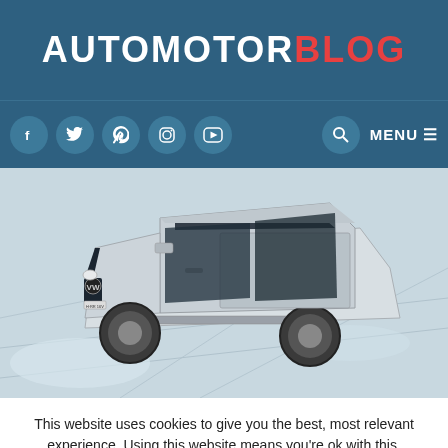AUTOMOTORBLOG
[Figure (screenshot): Navigation bar with social media icons (Facebook, Twitter, Pinterest, Instagram, YouTube), search icon, and MENU button on dark blue background]
[Figure (photo): Silver Volkswagen Amarok pickup truck photographed from above-front angle on a light gray surface]
This website uses cookies to give you the best, most relevant experience. Using this website means you're ok with this.
Accept   Read More